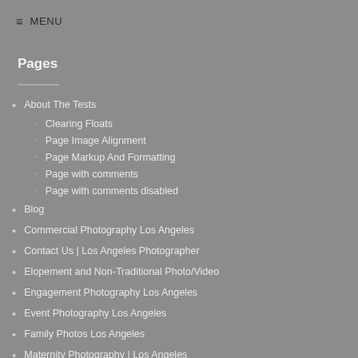≡ MENU
Pages
About The Tests
Clearing Floats
Page Image Alignment
Page Markup And Formatting
Page with comments
Page with comments disabled
Blog
Commercial Photography Los Angeles
Contact Us | Los Angeles Photographer
Elopement and Non-Traditional Photo/Video
Engagement Photography Los Angeles
Event Photography Los Angeles
Family Photos Los Angeles
Maternity Photography | Los Angeles